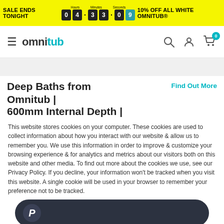SALE ENDS TONIGHT 04 33 09 10% OFF ALL WHITE OMNITUB
[Figure (screenshot): Omnitub website navigation bar with hamburger menu, omnitub logo, search, account, and cart icons (badge: 0)]
Deep Baths from Omnitub | 600mm Internal Depth |
Find Out More
This website stores cookies on your computer. These cookies are used to collect information about how you interact with our website & allow us to remember you. We use this information in order to improve & customize your browsing experience & for analytics and metrics about our visitors both on this website and other media. To find out more about the cookies we use, see our Privacy Policy. If you decline, your information won't be tracked when you visit this website. A single cookie will be used in your browser to remember your preference not to be tracked.
[Figure (screenshot): PayPal button - dark rounded rectangle with PayPal P logo icon on left]